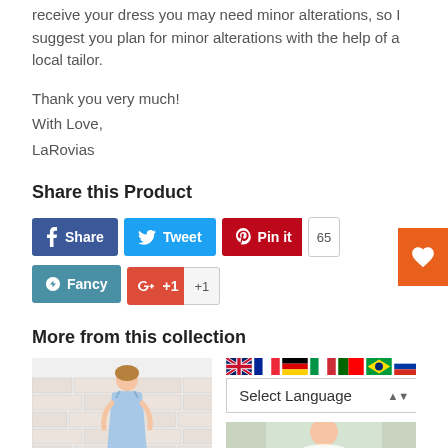receive your dress you may need minor alterations, so I suggest you plan for minor alterations with the help of a local tailor.
Thank you very much!
With Love,
LaRovias
Share this Product
[Figure (other): Social share buttons: Facebook Share, Tweet, Pin it (65), Fancy, Google+ +1]
More from this collection
[Figure (photo): Product photo of a woman in a light blue dress]
[Figure (screenshot): Language selector widget with flags and Select Language dropdown]